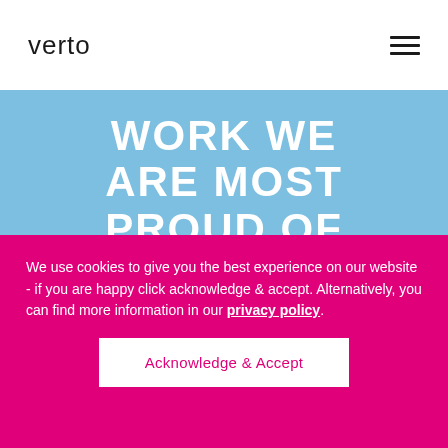verto
WORK WE ARE MOST PROUD OF
We use cookies to give you the best experience on our website - if you are happy click acknowledge & accept. Alternatively, you can find more information in our privacy policy.
Acknowledge & Accept